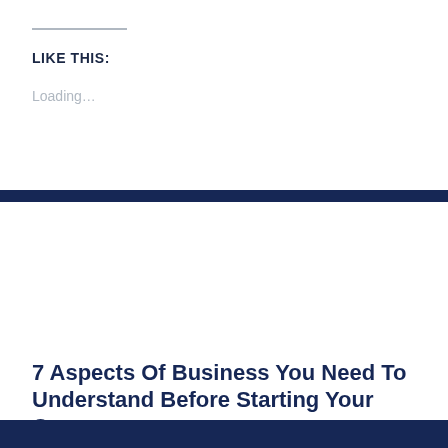LIKE THIS:
Loading…
7 Aspects Of Business You Need To Understand Before Starting Your Own